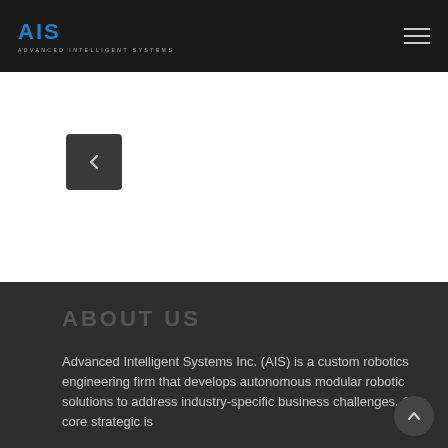AIS — ADVANCED INTELLIGENT SYSTEMS
[Figure (other): Navigation back arrow button (dark grey square with left chevron)]
ABOUT US
Advanced Intelligent Systems Inc. (AIS) is a custom robotics engineering firm that develops autonomous modular robotic solutions to address industry-specific business challenges. Our core strategic is